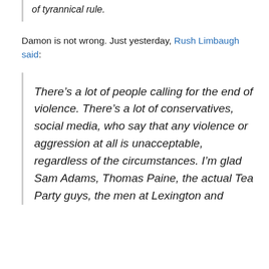of tyrannical rule.
Damon is not wrong. Just yesterday, Rush Limbaugh said:
There’s a lot of people calling for the end of violence. There’s a lot of conservatives, social media, who say that any violence or aggression at all is unacceptable, regardless of the circumstances. I’m glad Sam Adams, Thomas Paine, the actual Tea Party guys, the men at Lexington and